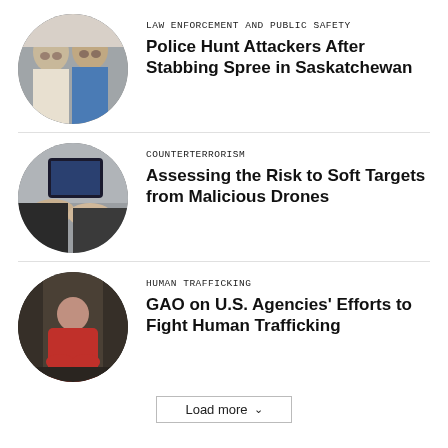[Figure (photo): Circular cropped photo of two men's faces side by side]
LAW ENFORCEMENT AND PUBLIC SAFETY
Police Hunt Attackers After Stabbing Spree in Saskatchewan
[Figure (photo): Circular cropped photo of hands holding a tablet or electronic device]
COUNTERTERRORISM
Assessing the Risk to Soft Targets from Malicious Drones
[Figure (photo): Circular cropped photo of a woman in a red dress seated in a dimly lit room]
HUMAN TRAFFICKING
GAO on U.S. Agencies' Efforts to Fight Human Trafficking
Load more